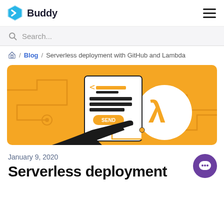Buddy
Search...
Home / Blog / Serverless deployment with GitHub and Lambda
[Figure (illustration): Orange background illustration showing a hand pressing a document with code/text lines and a SEND button, connected via circuit lines to the AWS Lambda logo (lambda symbol in white circle) on an orange background.]
January 9, 2020
Serverless deployment